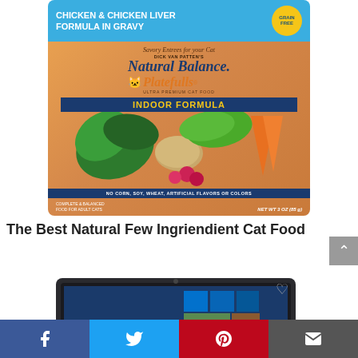[Figure (photo): Natural Balance Dick Van Patten's Platefulls Indoor Formula Chicken & Chicken Liver Formula in Gravy cat food pouch, grain free, net wt 3 oz (85g), no corn soy wheat artificial flavors or colors]
The Best Natural Few Ingriendient Cat Food
[Figure (photo): Partial view of a laptop showing Windows 10 screen with heart/wishlist icon overlay]
Facebook | Twitter | Pinterest | Email (social share bar)